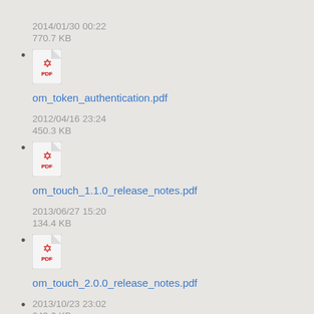2014/01/30 00:22
770.7 KB
om_token_authentication.pdf
2012/04/16 23:24
450.3 KB
om_touch_1.1.0_release_notes.pdf
2013/06/27 15:20
134.4 KB
om_touch_2.0.0_release_notes.pdf
2013/10/23 23:02
249.6 KB